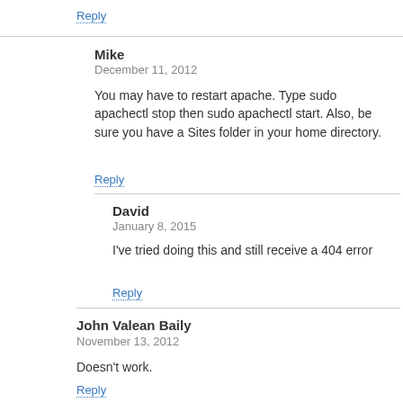Reply
Mike
December 11, 2012
You may have to restart apache. Type sudo apachectl stop then sudo apachectl start. Also, be sure you have a Sites folder in your home directory.
Reply
David
January 8, 2015
I've tried doing this and still receive a 404 error
Reply
John Valean Baily
November 13, 2012
Doesn't work.
Reply